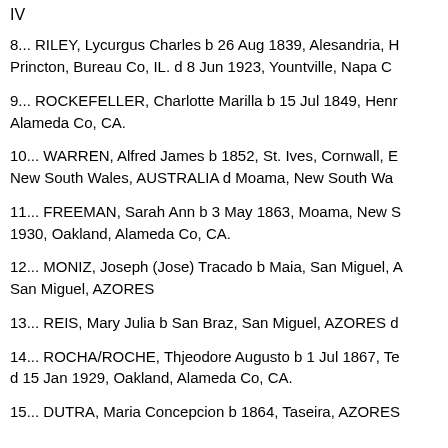IV
8... RILEY, Lycurgus Charles b 26 Aug 1839, Alesandria, Princton, Bureau Co, IL. d 8 Jun 1923, Yountville, Napa Co
9... ROCKEFELLER, Charlotte Marilla b 15 Jul 1849, Hen Alameda Co, CA.
10... WARREN, Alfred James b 1852, St. Ives, Cornwall, E New South Wales, AUSTRALIA d Moama, New South Wa
11... FREEMAN, Sarah Ann b 3 May 1863, Moama, New S 1930, Oakland, Alameda Co, CA.
12... MONIZ, Joseph (Jose) Tracado b Maia, San Miguel, San Miguel, AZORES
13... REIS, Mary Julia b San Braz, San Miguel, AZORES d
14... ROCHA/ROCHE, Thjeodore Augusto b 1 Jul 1867, Te d 15 Jan 1929, Oakland, Alameda Co, CA.
15... DUTRA, Maria Concepcion b 1864, Taseira, AZORES